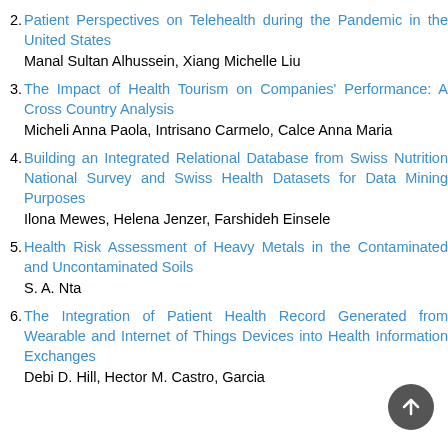2. Patient Perspectives on Telehealth during the Pandemic in the United States
Manal Sultan Alhussein, Xiang Michelle Liu
3. The Impact of Health Tourism on Companies' Performance: A Cross Country Analysis
Micheli Anna Paola, Intrisano Carmelo, Calce Anna Maria
4. Building an Integrated Relational Database from Swiss Nutrition National Survey and Swiss Health Datasets for Data Mining Purposes
Ilona Mewes, Helena Jenzer, Farshideh Einsele
5. Health Risk Assessment of Heavy Metals in the Contaminated and Uncontaminated Soils
S. A. Nta
6. The Integration of Patient Health Record Generated from Wearable and Internet of Things Devices into Health Information Exchanges
Debi...